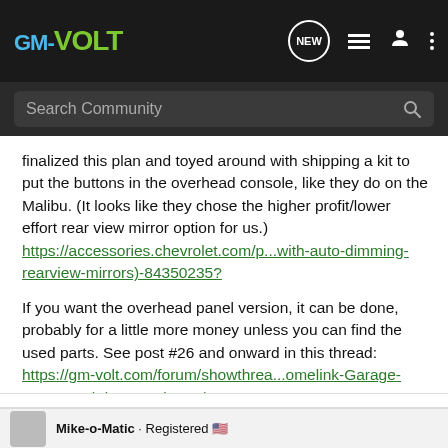GM-VOLT
finalized this plan and toyed around with shipping a kit to put the buttons in the overhead console, like they do on the Malibu. (It looks like they chose the higher profit/lower effort rear view mirror option for us.) https://accessories.chevrolet.com/p...with-auto-dimming-rearview-mirrors)-84350235?
If you want the overhead panel version, it can be done, probably for a little more money unless you can find the used parts. See post #26 and onward in this thread: https://gm-volt.com/forum/showthrea...omelink-Garage-Remote-Kit-is-comming!!!!/page3
Mike-o-Matic · Registered 🇺🇸